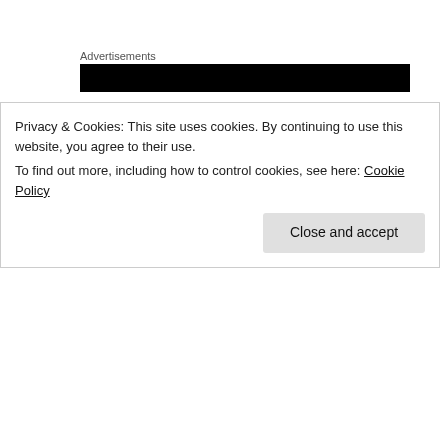Advertisements
[Figure (other): Black advertisement banner]
For disclosures/reports on this property email Melissa – RemaxAdler@gmail.com
View MLS listing here
Or click here to see more of our listings!
Privacy & Cookies: This site uses cookies. By continuing to use this website, you agree to their use.
To find out more, including how to control cookies, see here: Cookie Policy
Close and accept